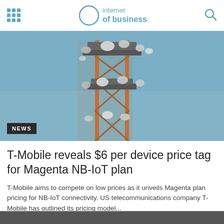internet of business
[Figure (photo): A telecommunications tower with multiple satellite dishes and antennas against a blue sky background]
T-Mobile reveals $6 per device price tag for Magenta NB-IoT plan
T-Mobile aims to compete on low prices as it unveils Magenta plan pricing for NB-IoT connectivity. US telecommunications company T-Mobile has outlined its pricing model...